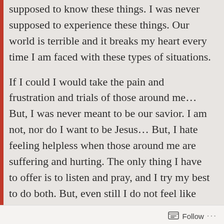supposed to know these things. I was never supposed to experience these things. Our world is terrible and it breaks my heart every time I am faced with these types of situations.
If I could I would take the pain and frustration and trials of those around me… But, I was never meant to be our savior. I am not, nor do I want to be Jesus… But, I hate feeling helpless when those around me are suffering and hurting. The only thing I have to offer is to listen and pray, and I try my best to do both. But, even still I do not feel like that is enough.. I always walk away wishing I could do more… and that is usually what drives me to prayer.
Follow ···